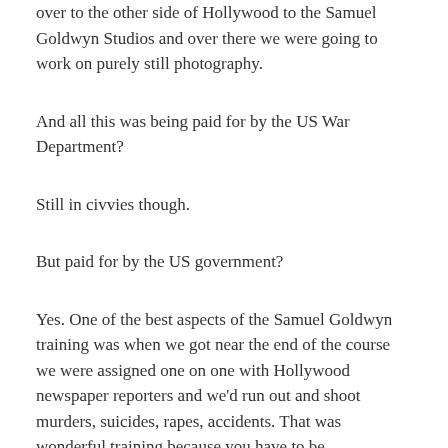over to the other side of Hollywood to the Samuel Goldwyn Studios and over there we were going to work on purely still photography.
And all this was being paid for by the US War Department?
Still in civvies though.
But paid for by the US government?
Yes. One of the best aspects of the Samuel Goldwyn training was when we got near the end of the course we were assigned one on one with Hollywood newspaper reporters and we'd run out and shoot murders, suicides, rapes, accidents. That was wonderful training because you have to be spontaneous; you can't be fiddling around